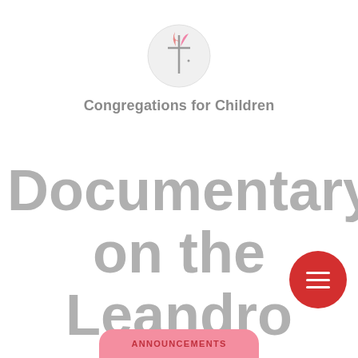[Figure (logo): United Methodist Church cross and flame logo inside a light gray circle]
Congregations for Children
Documentary on the Leandro Case
[Figure (other): Red circular FAB button with hamburger menu icon (three white horizontal lines)]
ANNOUNCEMENTS